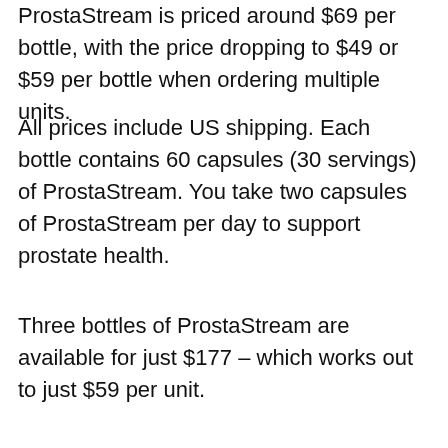ProstaStream is priced around $69 per bottle, with the price dropping to $49 or $59 per bottle when ordering multiple units.
All prices include US shipping. Each bottle contains 60 capsules (30 servings) of ProstaStream. You take two capsules of ProstaStream per day to support prostate health.
Three bottles of ProstaStream are available for just $177 – which works out to just $59 per unit.